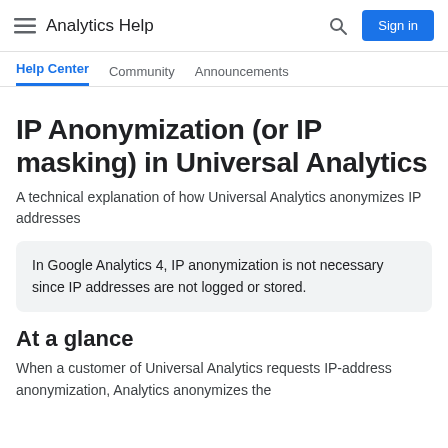Analytics Help  Sign in
Help Center  Community  Announcements
IP Anonymization (or IP masking) in Universal Analytics
A technical explanation of how Universal Analytics anonymizes IP addresses
In Google Analytics 4, IP anonymization is not necessary since IP addresses are not logged or stored.
At a glance
When a customer of Universal Analytics requests IP-address anonymization, Analytics anonymizes the